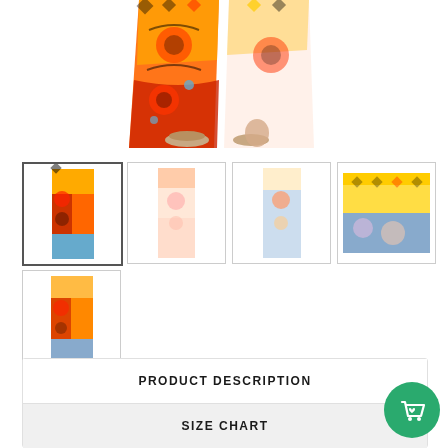[Figure (photo): Main product image: colorful tribal/aztec printed wide-leg pants or maxi skirt showing the lower portion with orange, red, yellow, and black patterns, worn with tan sandals on a white background]
[Figure (photo): Thumbnail 1: full-length view of colorful tribal printed wide-leg pants in orange, red, black tones]
[Figure (photo): Thumbnail 2: full-length view of light pink/peach floral printed pants]
[Figure (photo): Thumbnail 3: full-length view of blue and orange aztec printed wide-leg pants]
[Figure (photo): Thumbnail 4: close-up waistband detail of yellow and blue aztec pattern]
[Figure (photo): Thumbnail 5: full-length view of colorful tribal printed wide-leg pants, similar to thumb 1]
PRODUCT DESCRIPTION
SIZE CHART